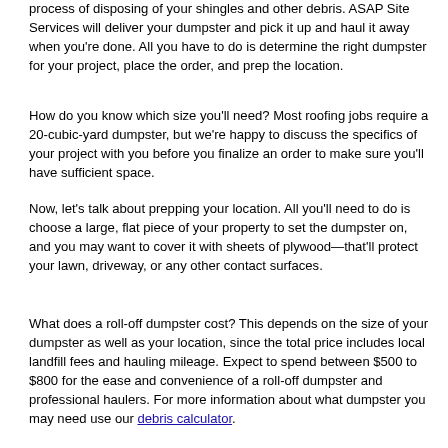process of disposing of your shingles and other debris. ASAP Site Services will deliver your dumpster and pick it up and haul it away when you're done. All you have to do is determine the right dumpster for your project, place the order, and prep the location.
How do you know which size you'll need? Most roofing jobs require a 20-cubic-yard dumpster, but we're happy to discuss the specifics of your project with you before you finalize an order to make sure you'll have sufficient space.
Now, let's talk about prepping your location. All you'll need to do is choose a large, flat piece of your property to set the dumpster on, and you may want to cover it with sheets of plywood—that'll protect your lawn, driveway, or any other contact surfaces.
What does a roll-off dumpster cost? This depends on the size of your dumpster as well as your location, since the total price includes local landfill fees and hauling mileage. Expect to spend between $500 to $800 for the ease and convenience of a roll-off dumpster and professional haulers. For more information about what dumpster you may need use our debris calculator.